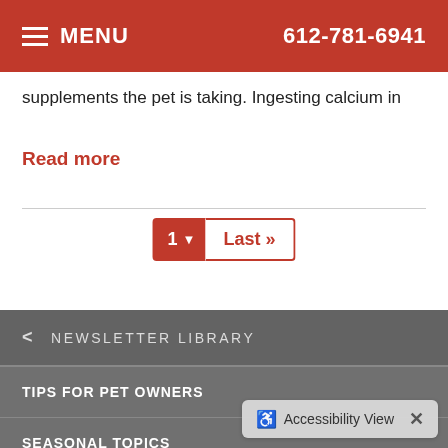MENU  612-781-6941
supplements the pet is taking. Ingesting calcium in
Read more
1  Last >>
NEWSLETTER LIBRARY
TIPS FOR PET OWNERS
SEASONAL TOPICS
NUTRITION & FOOD
Accessibility View